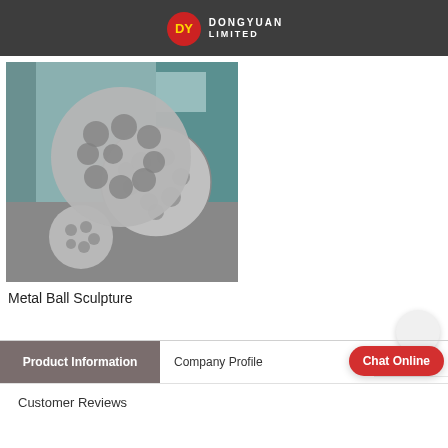DY DONGYUAN LIMITED
[Figure (photo): Three stainless steel openwork sphere sculptures of different sizes displayed outdoors on a paved surface, with a building in the background. The spheres have a lattice/mesh structure with round holes.]
Metal Ball Sculpture
Product Information
Company Profile
Customer Reviews